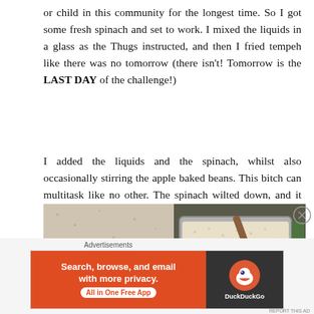or child in this community for the longest time. So I got some fresh spinach and set to work. I mixed the liquids in a glass as the Thugs instructed, and then I fried tempeh like there was no tomorrow (there isn't! Tomorrow is the LAST DAY of the challenge!)
I added the liquids and the spinach, whilst also occasionally stirring the apple baked beans. This bitch can multitask like no other. The spinach wilted down, and it was good to go.
[Figure (photo): Two food photos side by side: left shows a dark liquid in a bowl on a granite countertop; right shows rice or grain being stirred in a metal pot with a wooden spoon.]
Advertisements
[Figure (screenshot): DuckDuckGo advertisement banner: orange background on left with text 'Search, browse, and email with more privacy. All in One Free App', dark background on right with DuckDuckGo logo and brand name.]